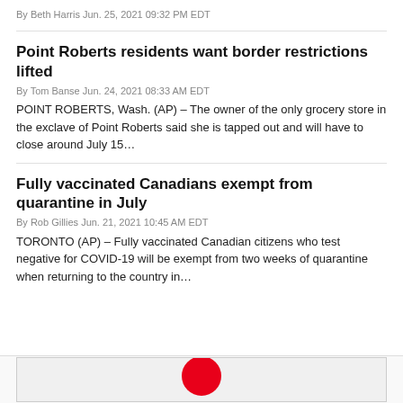By Beth Harris Jun. 25, 2021 09:32 PM EDT
Point Roberts residents want border restrictions lifted
By Tom Banse Jun. 24, 2021 08:33 AM EDT
POINT ROBERTS, Wash. (AP) – The owner of the only grocery store in the exclave of Point Roberts said she is tapped out and will have to close around July 15…
Fully vaccinated Canadians exempt from quarantine in July
By Rob Gillies Jun. 21, 2021 10:45 AM EDT
TORONTO (AP) – Fully vaccinated Canadian citizens who test negative for COVID-19 will be exempt from two weeks of quarantine when returning to the country in…
[Figure (photo): Partial image strip at bottom showing a red circular logo/sign, cut off at page edge]